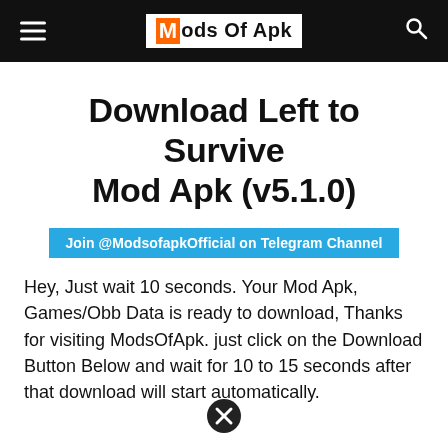Mods Of Apk
Download Left to Survive Mod Apk (v5.1.0)
Join @ModsofapkOfficial on Telegram Channel
Hey, Just wait 10 seconds. Your Mod Apk, Games/Obb Data is ready to download, Thanks for visiting ModsOfApk. just click on the Download Button Below and wait for 10 to 15 seconds after that download will start automatically.